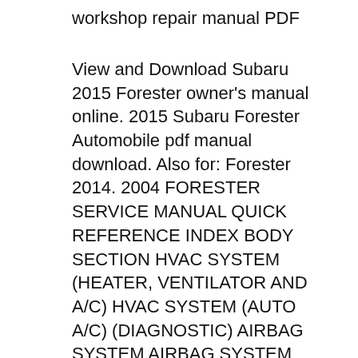workshop repair manual PDF
View and Download Subaru 2015 Forester owner's manual online. 2015 Subaru Forester Automobile pdf manual download. Also for: Forester 2014. 2004 FORESTER SERVICE MANUAL QUICK REFERENCE INDEX BODY SECTION HVAC SYSTEM (HEATER, VENTILATOR AND A/C) HVAC SYSTEM (AUTO A/C) (DIAGNOSTIC) AIRBAG SYSTEM AIRBAG SYSTEM (DIAGNOSTIC) This service manual has been prepared to provide SUBARU service personnel SEAT BELT SYSTEM with the necessary information and data for the correct maintenance and repair of SUBARU вЂ¦